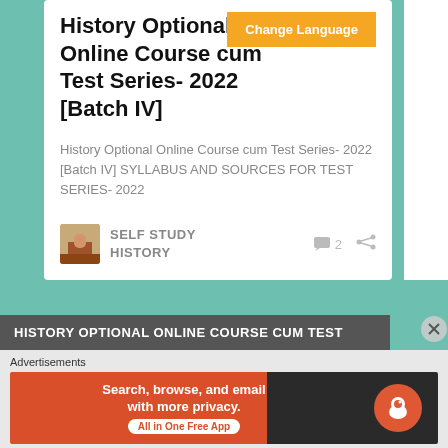History Optional Online Course cum Test Series- 2022 [Batch IV]
History Optional Online Course cum Test Series- 2022 [Batch IV] SYLLABUS AND SOURCES FOR TEST SERIES- 2022
SELF STUDY HISTORY
HISTORY OPTIONAL ONLINE COURSE CUM TEST
Advertisements
[Figure (screenshot): DuckDuckGo advertisement banner: orange-red left side with 'Search, browse, and email with more privacy. All in One Free App' text and button, dark right side with DuckDuckGo logo]